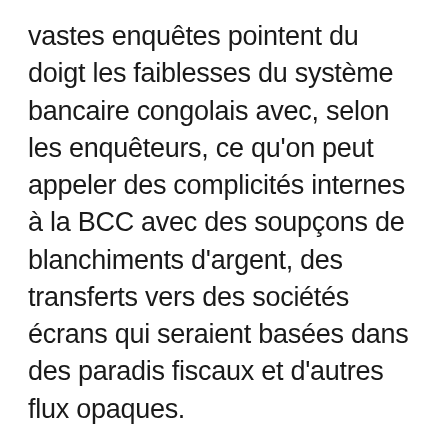vastes enquêtes pointent du doigt les faiblesses du système bancaire congolais avec, selon les enquêteurs, ce qu'on peut appeler des complicités internes à la BCC avec des soupçons de blanchiments d'argent, des transferts vers des sociétés écrans qui seraient basées dans des paradis fiscaux et d'autres flux opaques.
De son côté, Rose Mutombo, ministre de la Justice, a donné « injonction » au procureur général près la Cour de cassation « d'ouvrir une instruction judiciaire » sur les « révélations de détournements de fonds publics impliquant plusieurs sociétés